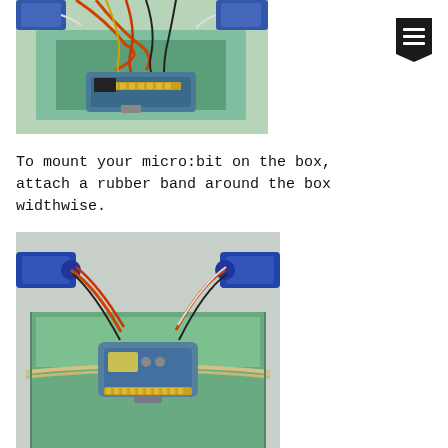[Figure (photo): Close-up photo of servo motors and wires connected to a micro:bit board mounted on a green box]
[Figure (illustration): Black bookmark icon with three horizontal white lines]
To mount your micro:bit on the box, attach a rubber band around the box widthwise.
[Figure (photo): Photo showing micro:bit board mounted on a green box with a rubber band, servo motors attached at top, wires visible]